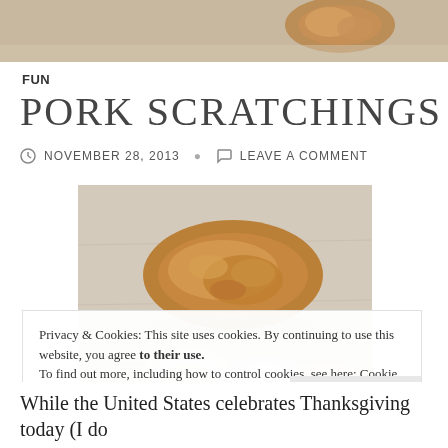[Figure (photo): Close-up photo of a pork scratching snack on a light wooden surface, with more pieces visible below]
FUN
PORK SCRATCHINGS
NOVEMBER 28, 2013   LEAVE A COMMENT
Privacy & Cookies: This site uses cookies. By continuing to use this website, you agree to their use.
To find out more, including how to control cookies, see here: Cookie Policy
Close and accept
While the United States celebrates Thanksgiving today (I do